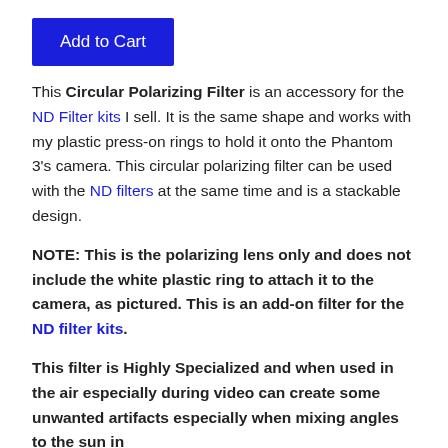[Figure (other): Blue 'Add to Cart' button]
This Circular Polarizing Filter is an accessory for the ND Filter kits I sell. It is the same shape and works with my plastic press-on rings to hold it onto the Phantom 3's camera. This circular polarizing filter can be used with the ND filters at the same time and is a stackable design.
NOTE: This is the polarizing lens only and does not include the white plastic ring to attach it to the camera, as pictured. This is an add-on filter for the ND filter kits.
This filter is Highly Specialized and when used in the air especially during video can create some unwanted artifacts especially when mixing angles to the sun in